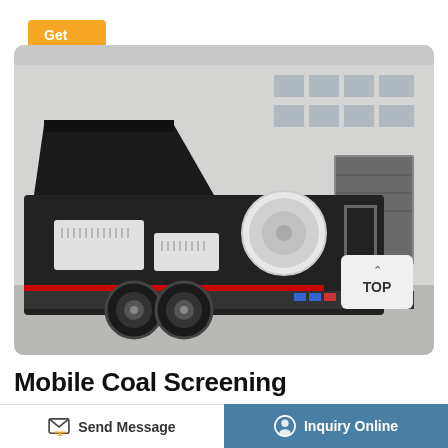Get Details
[Figure (photo): Mobile coal screening machine mounted on a trailer with large black body, white mechanical components, and a circular drum, parked in front of an industrial warehouse building]
Mobile Coal Screening
Mobile Coal Screening coal screening machine
Send Message
Inquiry Online